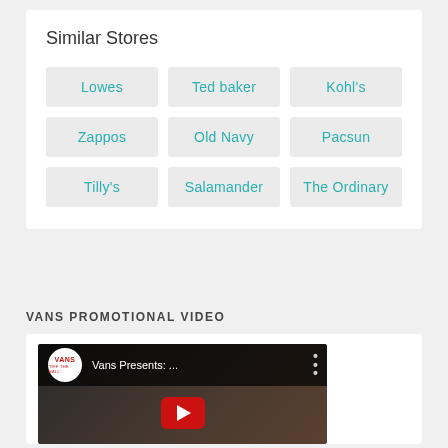Similar Stores
Lowes
Ted baker
Kohl's
Zappos
Old Navy
Pacsun
Tilly's
Salamander
The Ordinary
VANS PROMOTIONAL VIDEO
[Figure (screenshot): YouTube video thumbnail showing Vans Presents video with play button, Vans logo circle, and dark background]